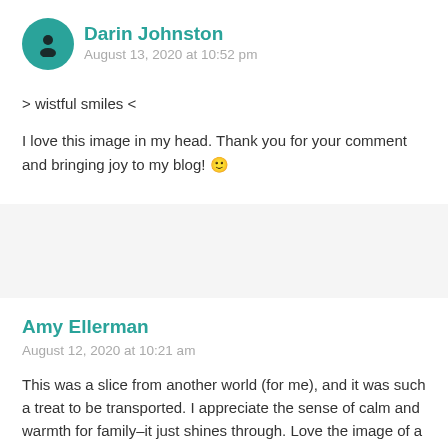[Figure (illustration): Circular teal avatar icon with a person silhouette]
Darin Johnston
August 13, 2020 at 10:52 pm
> wistful smiles <
I love this image in my head. Thank you for your comment and bringing joy to my blog! 🙂
Amy Ellerman
August 12, 2020 at 10:21 am
This was a slice from another world (for me), and it was such a treat to be transported. I appreciate the sense of calm and warmth for family–it just shines through. Love the image of a cow as adequate space for social distancing–totally using that one! Thank you for sharing today.